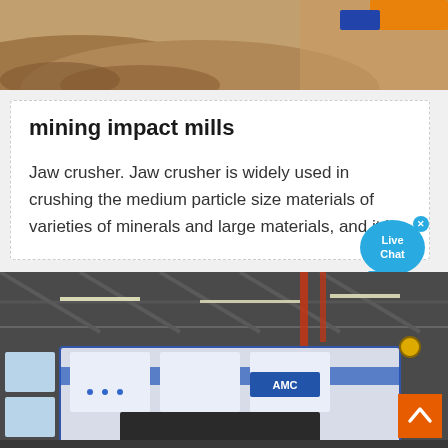[Figure (photo): Aerial view of crushed stone/gravel aggregate piles with orange and blue conveyor equipment visible in the upper right corner]
mining impact mills
Jaw crusher. Jaw crusher is widely used in crushing the medium particle size materials of varieties of minerals and large materials, and it i...
[Figure (photo): Industrial factory interior showing large mining/crushing machinery with AMC branding on a blue and white machine inside a steel-framed warehouse]